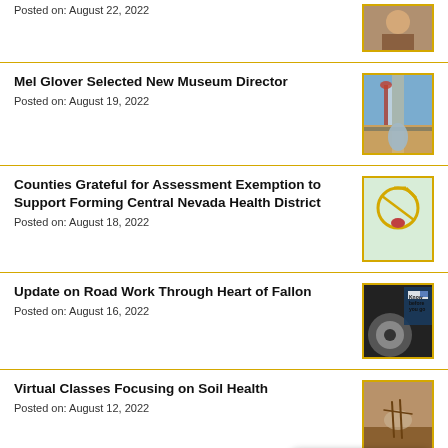Posted on: August 22, 2022
Mel Glover Selected New Museum Director
Posted on: August 19, 2022
Counties Grateful for Assessment Exemption to Support Forming Central Nevada Health District
Posted on: August 18, 2022
Update on Road Work Through Heart of Fallon
Posted on: August 16, 2022
Virtual Classes Focusing on Soil Health
Posted on: August 12, 2022